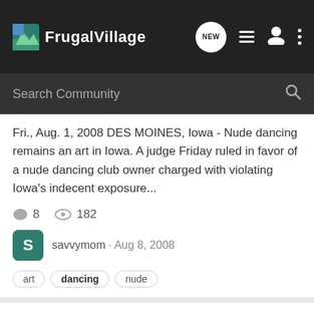[Figure (screenshot): FrugalVillage website navigation bar with logo, search bar, and nav icons]
Fri., Aug. 1, 2008 DES MOINES, Iowa - Nude dancing remains an art in Iowa. A judge Friday ruled in favor of a nude dancing club owner charged with violating Iowa's indecent exposure...
8  182
savvymom · Aug 8, 2008
art  dancing  nude
OMG! You will never guess......
General Chat
what I did last night?:ANYWORD: Do you think you know? It was way out of my character or so I thought. Keep guessing and then scroll down for the answer. We went to the Wild